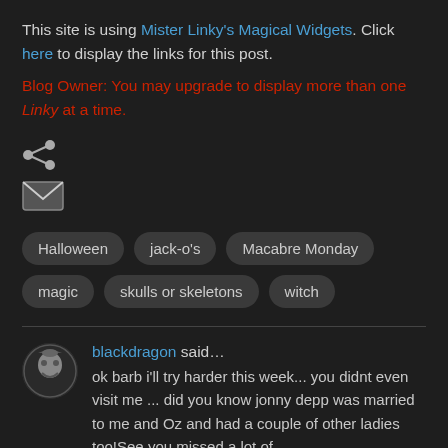This site is using Mister Linky's Magical Widgets. Click here to display the links for this post.
Blog Owner: You may upgrade to display more than one Linky at a time.
[Figure (other): Share icon (social share symbol)]
[Figure (other): Email/envelope icon]
Halloween
jack-o's
Macabre Monday
magic
skulls or skeletons
witch
blackdragon said... ok barb i'll try harder this week... you didnt even visit me ... did you know jonny depp was married to me and Oz and had a couple of other ladies too!See you missed a lot of